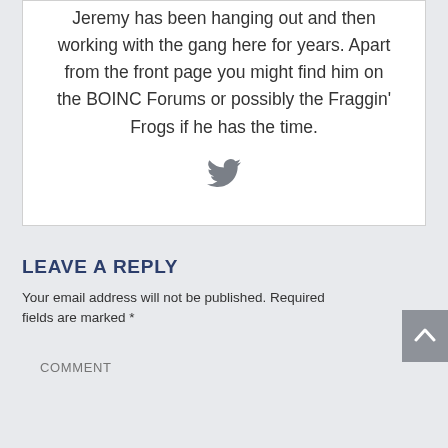Jeremy has been hanging out and then working with the gang here for years. Apart from the front page you might find him on the BOINC Forums or possibly the Fraggin' Frogs if he has the time.
[Figure (illustration): Twitter bird icon in gray]
LEAVE A REPLY
Your email address will not be published. Required fields are marked *
COMMENT